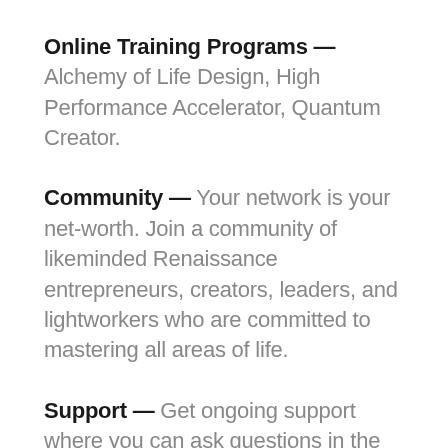Online Training Programs — Alchemy of Life Design, High Performance Accelerator, Quantum Creator.
Community — Your network is your net-worth. Join a community of likeminded Renaissance entrepreneurs, creators, leaders, and lightworkers who are committed to mastering all areas of life.
Support — Get ongoing support where you can ask questions in the community or send Rhett direct private messages.